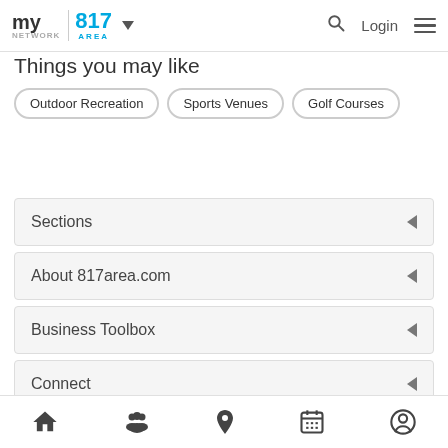my area network | 817 AREA | Login
Things you may like
Outdoor Recreation
Sports Venues
Golf Courses
Sections
About 817area.com
Business Toolbox
Connect
Neighborhoods
Home | People | Location | Calendar | Profile